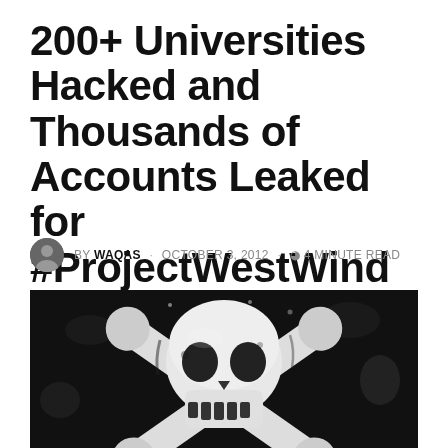200+ Universities Hacked and Thousands of Accounts Leaked for #ProjectWestWind
BY WAQAS · OCTOBER 3, 2012 · 4 MINUTE READ
[Figure (photo): Black and white stylized skull and crossbones (Jolly Roger) image on dark background, representing hacking/piracy theme]